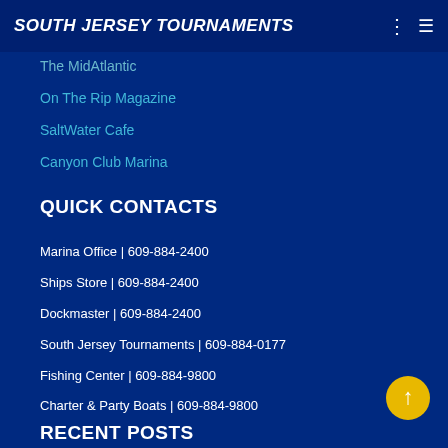SOUTH JERSEY TOURNAMENTS
The MidAtlantic
On The Rip Magazine
SaltWater Cafe
Canyon Club Marina
QUICK CONTACTS
Marina Office | 609-884-2400
Ships Store | 609-884-2400
Dockmaster | 609-884-2400
South Jersey Tournaments | 609-884-0177
Fishing Center | 609-884-9800
Charter & Party Boats | 609-884-9800
RECENT POSTS